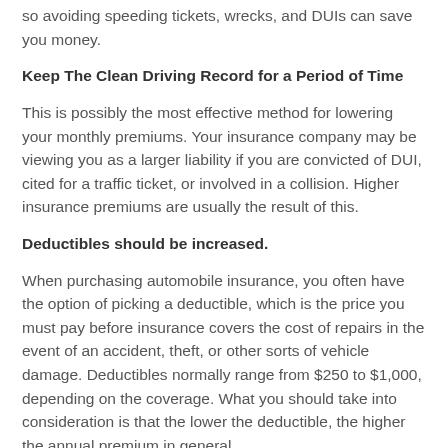so avoiding speeding tickets, wrecks, and DUIs can save you money.
Keep The Clean Driving Record for a Period of Time
This is possibly the most effective method for lowering your monthly premiums. Your insurance company may be viewing you as a larger liability if you are convicted of DUI, cited for a traffic ticket, or involved in a collision. Higher insurance premiums are usually the result of this.
Deductibles should be increased.
When purchasing automobile insurance, you often have the option of picking a deductible, which is the price you must pay before insurance covers the cost of repairs in the event of an accident, theft, or other sorts of vehicle damage. Deductibles normally range from $250 to $1,000, depending on the coverage. What you should take into consideration is that the lower the deductible, the higher the annual premium in general.
Conversely, the cheaper the premium, the greater the deductible.